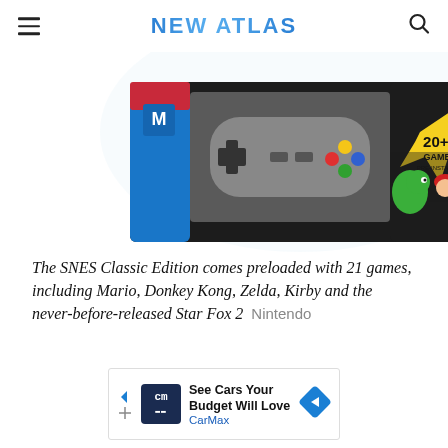NEW ATLAS
[Figure (photo): SNES Classic Edition box showing the console controller and '20+1 GAMES PRE-INSTALLED' text with Mario and Yoshi characters on the packaging.]
The SNES Classic Edition comes preloaded with 21 games, including Mario, Donkey Kong, Zelda, Kirby and the never-before-released Star Fox 2  Nintendo
[Figure (other): CarMax advertisement banner: 'See Cars Your Budget Will Love' with CarMax logo and navigation arrow icon.]